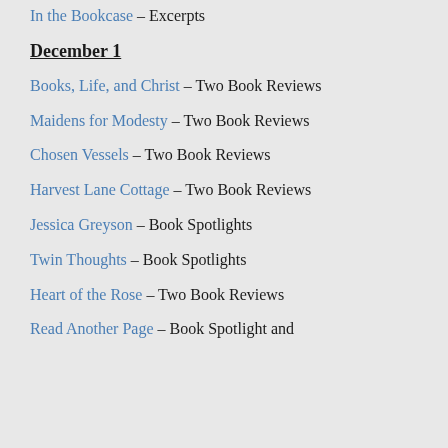In the Bookcase – Excerpts
December 1
Books, Life, and Christ – Two Book Reviews
Maidens for Modesty – Two Book Reviews
Chosen Vessels – Two Book Reviews
Harvest Lane Cottage – Two Book Reviews
Jessica Greyson – Book Spotlights
Twin Thoughts – Book Spotlights
Heart of the Rose – Two Book Reviews
Read Another Page – Book Spotlight and Review